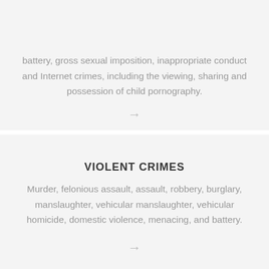[Figure (other): Hamburger menu icon (three horizontal lines)]
battery, gross sexual imposition, inappropriate conduct and Internet crimes, including the viewing, sharing and possession of child pornography.
→
VIOLENT CRIMES
Murder, felonious assault, assault, robbery, burglary, manslaughter, vehicular manslaughter, vehicular homicide, domestic violence, menacing, and battery.
→